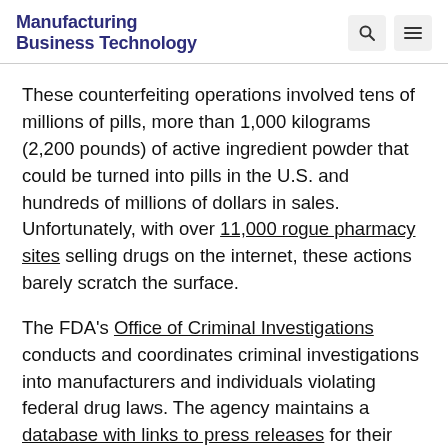Manufacturing Business Technology
These counterfeiting operations involved tens of millions of pills, more than 1,000 kilograms (2,200 pounds) of active ingredient powder that could be turned into pills in the U.S. and hundreds of millions of dollars in sales. Unfortunately, with over 11,000 rogue pharmacy sites selling drugs on the internet, these actions barely scratch the surface.
The FDA's Office of Criminal Investigations conducts and coordinates criminal investigations into manufacturers and individuals violating federal drug laws. The agency maintains a database with links to press releases for their enforcement actions. Overall, in 64.6% of cases in